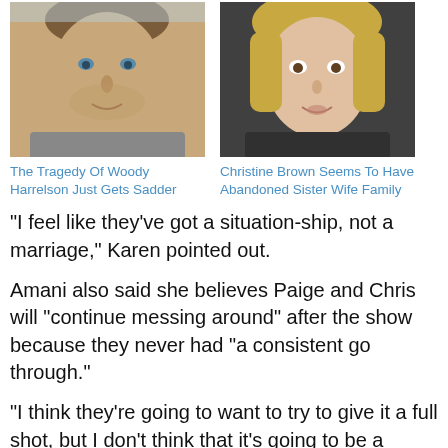[Figure (photo): Headshot photo of a man (Woody Harrelson) with short grey/brown hair and stubble, wearing a grey shirt, light blue background]
The Tragedy Of Woody Harrelson Just Gets Sadder
[Figure (photo): Headshot photo of a woman (Christine Brown) with blonde hair, speaking or talking, dark background]
Christine Brown Seems To Have Abandoned Sister Wife Family
"I feel like they've got a situation-ship, not a marriage," Karen pointed out.
Amani also said she believes Paige and Chris will "continue messing around" after the show because they never had "a consistent go through."
"I think they're going to want to try to give it a full shot, but I don't think that it's going to be a healthy